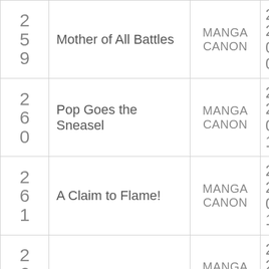| # | Title | Type | Date |
| --- | --- | --- | --- |
| 259 | Mother of All Battles | MANGA CANON | 2002-09-05 |
| 260 | Pop Goes the Sneasel | MANGA CANON | 2002-09-12 |
| 261 | A Claim to Flame! | MANGA CANON | 2002-09-19 |
| 262 | Love, Pokémon Style | MANGA CANON | 2002-09-26 |
| 263 | Tie One On! | MANGA CANON | 2002-10- |